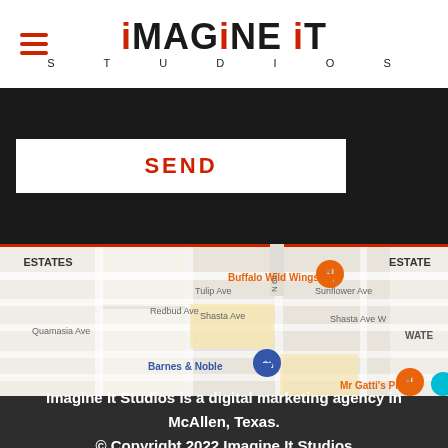iMAGINE iT STUDIOS
SEND
[Figure (map): Google Maps screenshot showing area near Buffalo Wild Wings, Barnes & Noble, and Mr Gatti's Pizza in McAllen, Texas. Shows Redbud Ave, Quamasia Ave, Tulip Ave, Shasta Ave, Sunflower Ave, Shasta Ave W, N 6th street. Neighborhood labels: ESTATES, WATER. Business pins for Buffalo Wild Wings (orange), Barnes & Noble (blue), Mr Gatti's Pizza (orange).]
Imagine It Studios is a digital marketing agency in McAllen, Texas.
© Copyright 2022 Imagine It Studios